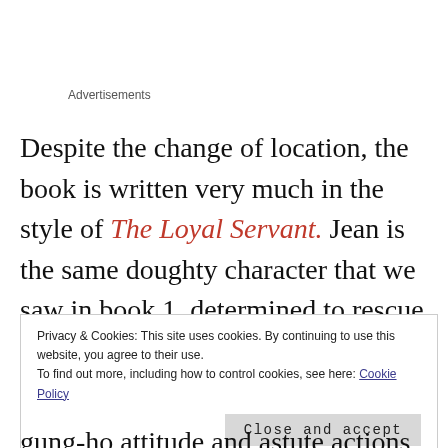Advertisements
Despite the change of location, the book is written very much in the style of The Loyal Servant. Jean is the same doughty character that we saw in book 1, determined to rescue her son although frightened that she has found herself within the gunman's sights. The scenes containing Jean are the ones with the most
Privacy & Cookies: This site uses cookies. By continuing to use this website, you agree to their use.
To find out more, including how to control cookies, see here: Cookie Policy
[Close and accept]
gung-ho attitude and astute actions although the